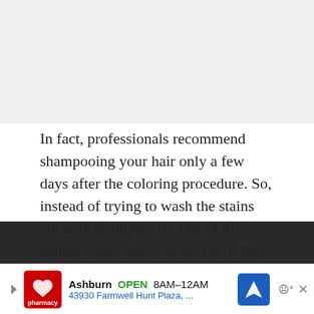[Figure (photo): Image placeholder at top of page, light gray background]
In fact, professionals recommend shampooing your hair only a few days after the coloring procedure. So, instead of trying to wash the stains out with shampoo, try one of the simple hacks above to get rid of the dye stains.
How to Prevent Hair Dye
[Figure (infographic): CVS Pharmacy advertisement bar at bottom: Ashburn OPEN 8AM-12AM, 43930 Farmwell Hunt Plaza,...]